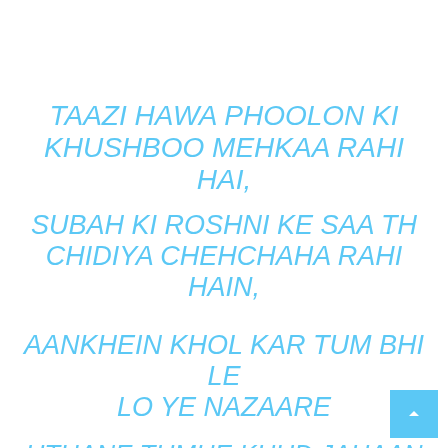TAAZI HAWA PHOOLON KI KHUSHBOO MEHKAA RAHI HAI,
SUBAH KI ROSHNI KE SAA TH CHIDIYA CHEHCHAHA RAHI HAIN,
AANKHEIN KHOL KAR TUM BHI LE LO YE NAZAARE
UTHANE TUMHE KHUD JAHAAN KI SAARI KHUSHIYAN AA RAHI HAIN...
GOOD MORNING!!